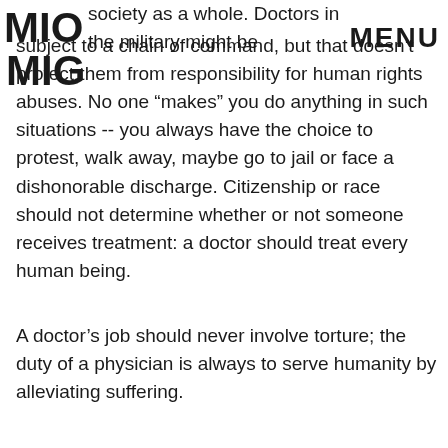MIO | MENU
society as a whole. Doctors in the military might be subject to a chain of command, but that doesn't protect them from responsibility for human rights abuses. No one “make” you do anything in such situations -- you always have the choice to protest, walk away, maybe go to jail or face a dishonorable discharge. Citizenship or race should not determine whether or not someone receives treatment: a doctor should treat every human being.
A doctor’s job should never involve torture; the duty of a physician is always to serve humanity by alleviating suffering.